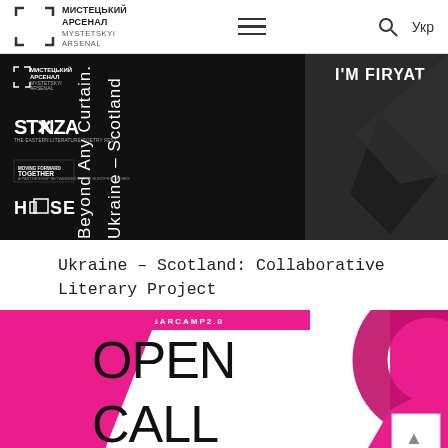МИСТЕЦЬКИЙ АРСЕНАЛ / MYSTETSKYI ARSENAL — Укр
[Figure (photo): Promotional image for Ukraine – Scotland Collaborative Literary Project, black and white, showing rotated text 'Beyond Any Curtain, Ukraine – Scotland' and 'I'M FIRYAT' with logos for Mystetskyi Arsenal, StAnza, Moving Forward Together, and House]
Ukraine – Scotland: Collaborative Literary Project
[Figure (photo): Promotional graphic for Online-Barcamp 2.0 Open Call, pink and white design with large bold text 'OPEN CALL' and geometric decorative elements]